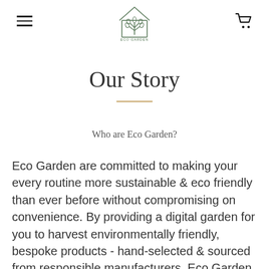[Figure (logo): Eco Garden logo: a line-art tree/plant inside a house outline with 'ECO GARDEN' text beneath]
Our Story
Who are Eco Garden?
Eco Garden are committed to making your every routine more sustainable & eco friendly than ever before without compromising on convenience. By providing a digital garden for you to harvest environmentally friendly, bespoke products - hand-selected & sourced from responsible manufacturers, Eco Garden is determined to show the world that